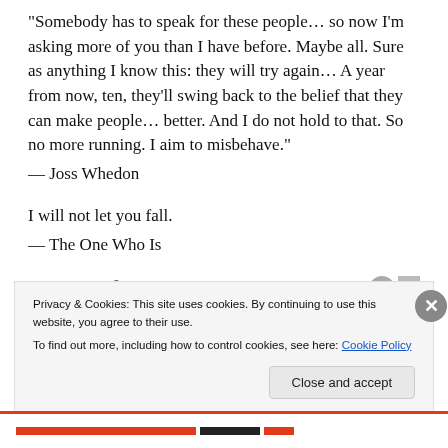“Somebody has to speak for these people… so now I’m asking more of you than I have before. Maybe all. Sure as anything I know this: they will try again… A year from now, ten, they’ll swing back to the belief that they can make people… better. And I do not hold to that. So no more running. I aim to misbehave.”
— Joss Whedon
I will not let you fall.
— The One Who Is
Sponsored Content
Privacy & Cookies: This site uses cookies. By continuing to use this website, you agree to their use.
To find out more, including how to control cookies, see here: Cookie Policy